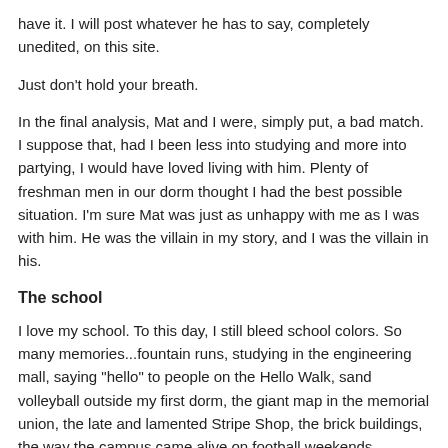have it. I will post whatever he has to say, completely unedited, on this site.
Just don't hold your breath.
In the final analysis, Mat and I were, simply put, a bad match. I suppose that, had I been less into studying and more into partying, I would have loved living with him. Plenty of freshman men in our dorm thought I had the best possible situation. I'm sure Mat was just as unhappy with me as I was with him. He was the villain in my story, and I was the villain in his.
The school
I love my school. To this day, I still bleed school colors. So many memories...fountain runs, studying in the engineering mall, saying "hello" to people on the Hello Walk, sand volleyball outside my first dorm, the giant map in the memorial union, the late and lamented Stripe Shop, the brick buildings, the way the campus came alive on football weekends, Breakfast Club, the bars that are gone (like